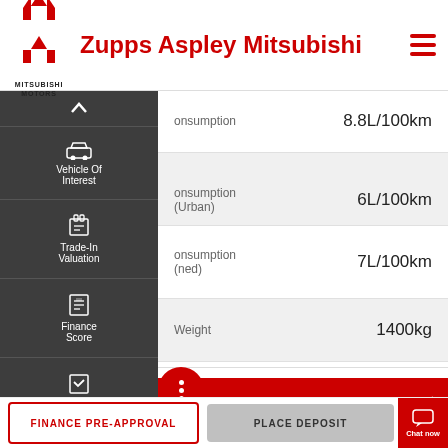[Figure (logo): Mitsubishi Motors logo with three red diamonds and text MITSUBISHI MOTORS below]
Zupps Aspley Mitsubishi
consumption  8.8L/100km
consumption (Urban)  6L/100km
consumption (combined)  7L/100km
Weight  1400kg
Vehicle Of Interest
Trade-In Valuation
Finance Score
Finance Enquiry
Book A Test Drive
CONTACT US
Comments from the Dealer
FINANCE PRE-APPROVAL
PLACE DEPOSIT
Chat now